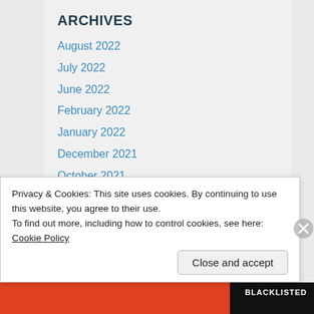ARCHIVES
August 2022
July 2022
June 2022
February 2022
January 2022
December 2021
October 2021
July 2021
June 2021
May 2021
April 2021
March 2021
Privacy & Cookies: This site uses cookies. By continuing to use this website, you agree to their use.
To find out more, including how to control cookies, see here: Cookie Policy
Close and accept